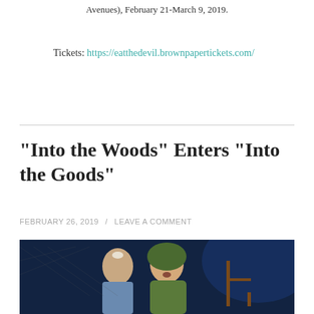Avenues), February 21-March 9, 2019.
Tickets: https://eatthedevil.brownpapertickets.com/
“Into the Woods” Enters “Into the Goods”
FEBRUARY 26, 2019 / LEAVE A COMMENT
[Figure (photo): Two young women on stage in a theatrical production. One wears a blue costume, the other wears a green hooded cloak and appears to be singing. A wooden chair and chain-link fence are visible in the background with blue lighting.]